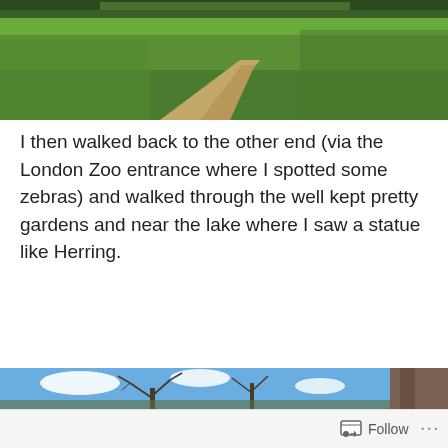[Figure (photo): Aerial view of green parkland with a dirt path winding through grass, bare trees in background]
I then walked back to the other end (via the London Zoo entrance where I spotted some zebras) and walked through the well kept pretty gardens and near the lake where I saw a statue like Herring.
[Figure (photo): Park scene with yellow daffodils in foreground, bare tree trunk on right, bare trees and blue sky with white clouds in background]
Follow ...